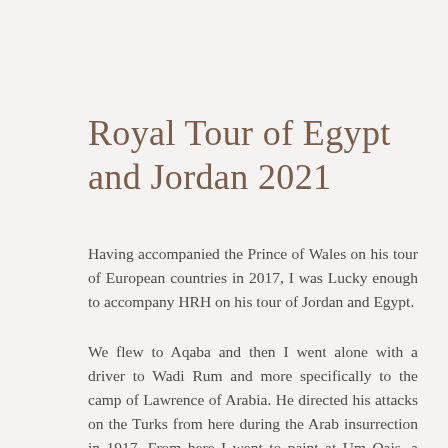Royal Tour of Egypt and Jordan 2021
Having accompanied the Prince of Wales on his tour of European countries in 2017, I was Lucky enough to accompany HRH on his tour of Jordan and Egypt.
We flew to Aqaba and then I went alone with a driver to Wadi Rum and more specifically to the camp of Lawrence of Arabia. He directed his attacks on the Turks from here during the Arab insurrection in 1917. From here I went to paint at Um Qais, a Roman and then